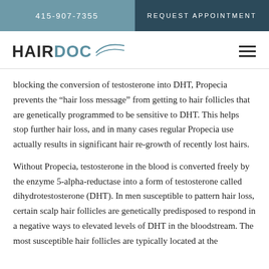415-907-7355   REQUEST APPOINTMENT
[Figure (logo): HAIRDOC logo with swoosh graphic and hamburger menu icon]
blocking the conversion of testosterone into DHT, Propecia prevents the “hair loss message” from getting to hair follicles that are genetically programmed to be sensitive to DHT. This helps stop further hair loss, and in many cases regular Propecia use actually results in significant hair re-growth of recently lost hairs.
Without Propecia, testosterone in the blood is converted freely by the enzyme 5-alpha-reductase into a form of testosterone called dihydrotestosterone (DHT). In men susceptible to pattern hair loss, certain scalp hair follicles are genetically predisposed to respond in a negative ways to elevated levels of DHT in the bloodstream. The most susceptible hair follicles are typically located at the